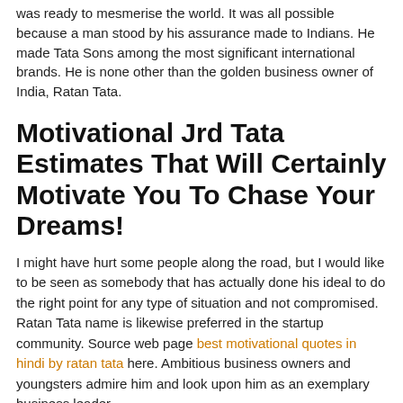was ready to mesmerise the world. It was all possible because a man stood by his assurance made to Indians. He made Tata Sons among the most significant international brands. He is none other than the golden business owner of India, Ratan Tata.
Motivational Jrd Tata Estimates That Will Certainly Motivate You To Chase Your Dreams!
I might have hurt some people along the road, but I would like to be seen as somebody that has actually done his ideal to do the right point for any type of situation and not compromised. Ratan Tata name is likewise preferred in the startup community. Source web page best motivational quotes in hindi by ratan tata here. Ambitious business owners and youngsters admire him and look upon him as an exemplary business leader.
The scholarship fund will certainly support about 20
[Figure (photo): Dark background image with a person's face partially visible, a green circle quote badge, text 'If you want to walk fast' and 'YourSelf' branding in top right corner]